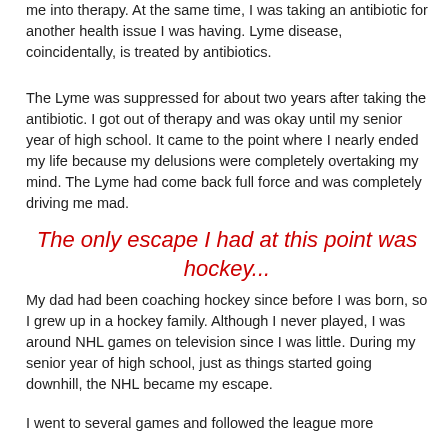me into therapy. At the same time, I was taking an antibiotic for another health issue I was having. Lyme disease, coincidentally, is treated by antibiotics.
The Lyme was suppressed for about two years after taking the antibiotic. I got out of therapy and was okay until my senior year of high school. It came to the point where I nearly ended my life because my delusions were completely overtaking my mind. The Lyme had come back full force and was completely driving me mad.
The only escape I had at this point was hockey...
My dad had been coaching hockey since before I was born, so I grew up in a hockey family. Although I never played, I was around NHL games on television since I was little. During my senior year of high school, just as things started going downhill, the NHL became my escape.
I went to several games and followed the league more